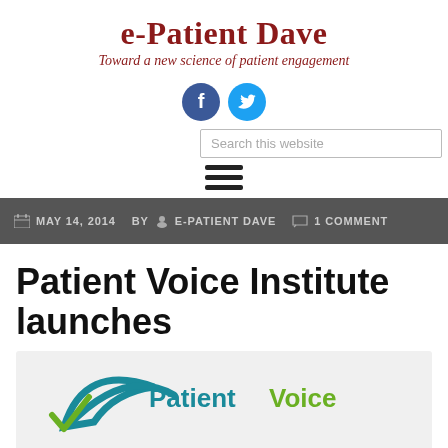e-Patient Dave
Toward a new science of patient engagement
[Figure (logo): Facebook and Twitter social media icons (blue circles with white f and bird logos)]
Search this website
[Figure (other): Hamburger menu icon (three horizontal black lines)]
MAY 14, 2014   BY   E-PATIENT DAVE   1 COMMENT
Patient Voice Institute launches
[Figure (logo): Patient Voice Institute logo with teal swoosh and green checkmark]